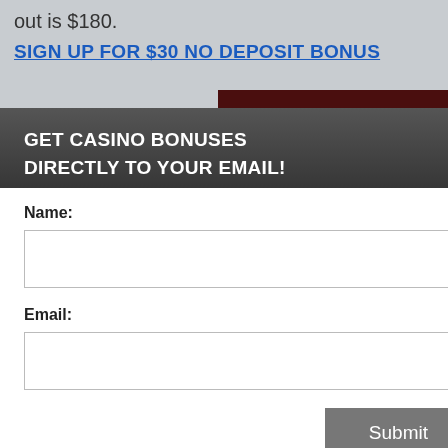out is $180.
SIGN UP FOR $30 NO DEPOSIT BONUS
[Figure (screenshot): Casino logo with 'as' text in gold and 'sino' in gold italic on dark red background]
GET CASINO BONUSES DIRECTLY TO YOUR EMAIL!
Name:
Email:
Submit
By subscribing you are certifying that you have reviewed and accepted our updated Privacy and Cookie policy.
perience, we use Using this site, kie & privacy policy.
onus
onus d get laim a
it bonus